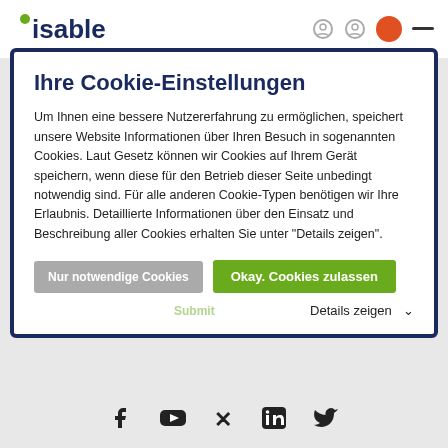[Figure (logo): isable logo with green dot accent]
Ihre Cookie-Einstellungen
Um Ihnen eine bessere Nutzererfahrung zu ermöglichen, speichert unsere Website Informationen über Ihren Besuch in sogenannten Cookies. Laut Gesetz können wir Cookies auf Ihrem Gerät speichern, wenn diese für den Betrieb dieser Seite unbedingt notwendig sind. Für alle anderen Cookie-Typen benötigen wir Ihre Erlaubnis. Detaillierte Informationen über den Einsatz und Beschreibung aller Cookies erhalten Sie unter "Details zeigen".
Nur notwendige Cookies
Okay. Cookies zulassen
Details zeigen
[Figure (infographic): Social media icons: Facebook, YouTube, Xing, LinkedIn, Twitter]